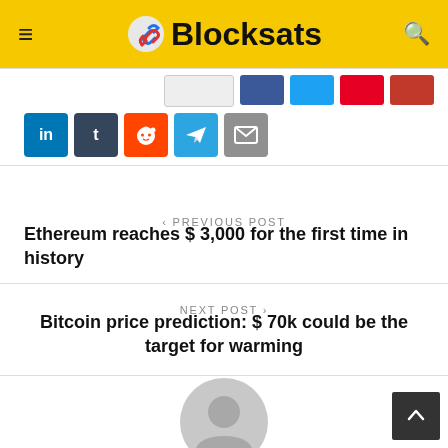Blocksats
[Figure (screenshot): Social media share buttons: LinkedIn, Tumblr, Reddit, Telegram, Email in second row]
< PREVIOUS POST
Ethereum reaches $ 3,000 for the first time in history
NEXT POST >
Bitcoin price prediction: $ 70k could be the target for warming
[Figure (illustration): Generic grey user avatar circle icon]